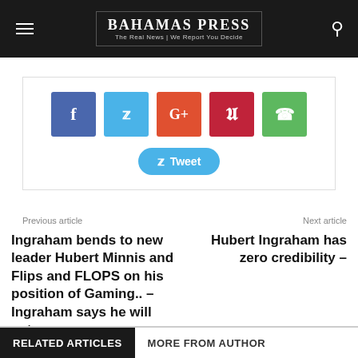BAHAMAS PRESS — The Real News | We Report You Decide
[Figure (infographic): Social share buttons: Facebook, Twitter, Google+, Pinterest, WhatsApp, and a Tweet button]
Previous article
Next article
Ingraham bends to new leader Hubert Minnis and Flips and FLOPS on his position of Gaming.. – Ingraham says he will vote no
Hubert Ingraham has zero credibility –
RELATED ARTICLES   MORE FROM AUTHOR